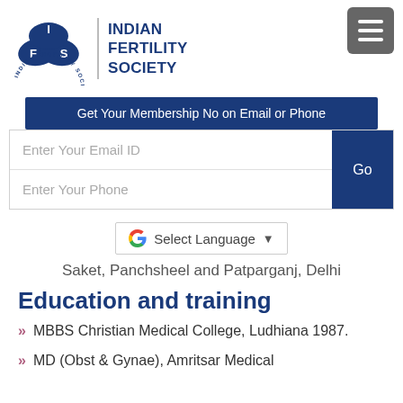[Figure (logo): Indian Fertility Society logo: three overlapping blue ellipses with letters I, F, S, surrounded by circular text 'INDIAN FERTILITY SOCIETY']
INDIAN FERTILITY SOCIETY
[Figure (other): Hamburger menu icon (three horizontal white lines on dark grey background)]
Get Your Membership No on Email or Phone
Enter Your Email ID
Enter Your Phone
Go
[Figure (other): Google Translate widget: G logo followed by 'Select Language' text and dropdown arrow]
Saket, Panchsheel and Patparganj, Delhi
Education and training
MBBS Christian Medical College, Ludhiana 1987.
MD (Obst & Gynae), Amritsar Medical